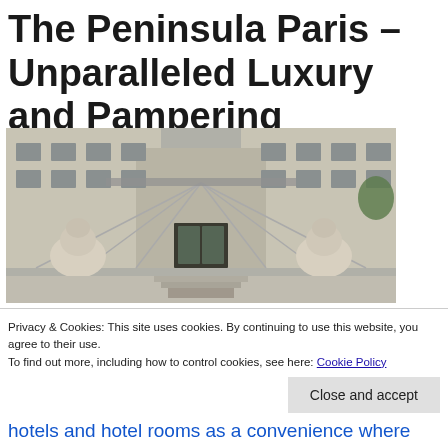The Peninsula Paris – Unparalleled Luxury and Pampering
[Figure (photo): Exterior entrance of The Peninsula Paris hotel showing two stone lion statues flanking the entrance, with a modern glass canopy structure overhead and the grand Haussmann-style building facade in the background]
Privacy & Cookies: This site uses cookies. By continuing to use this website, you agree to their use.
To find out more, including how to control cookies, see here: Cookie Policy
hotels and hotel rooms as a convenience where